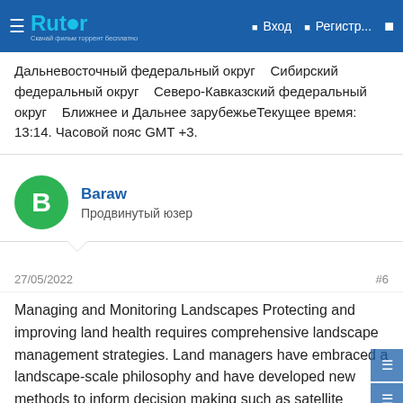Rutor — Вход   Регистр...
Дальневосточный федеральный округ    Сибирский федеральный округ    Северо-Кавказский федеральный округ    Ближнее и Дальнее зарубежьеТекущее время: 13:14. Часовой пояс GMT +3.
Baraw
Продвинутый юзер
27/05/2022    #6
Managing and Monitoring Landscapes Protecting and improving land health requires comprehensive landscape management strategies. Land managers have embraced a landscape-scale philosophy and have developed new methods to inform decision making such as satellite imagery to assess current conditions and detect changes, and predictive models to forecast change. The Landscape Toolbox is a coordinated system of tools and methods for implementing land health monitoring and integrating monitoring data into management decision-making. The goal of